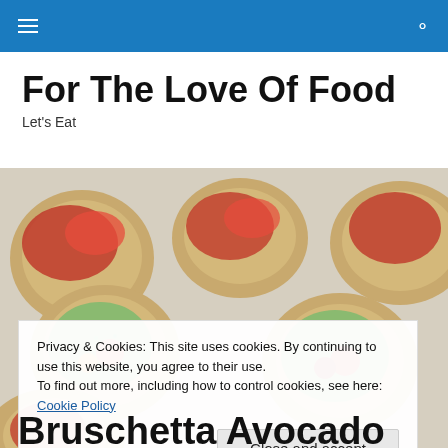For The Love Of Food
Let's Eat
[Figure (photo): Overhead photo of small round bruschetta-style bites on a white plate, topped with red tomatoes, green herb spreads, and cherry tomatoes]
Privacy & Cookies: This site uses cookies. By continuing to use this website, you agree to their use.
To find out more, including how to control cookies, see here: Cookie Policy
Close and accept
Bruschetta Avocado Bites